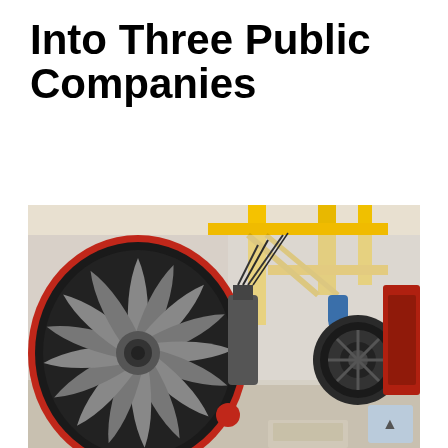Into Three Public Companies
[Figure (photo): Industrial facility interior showing large jet aircraft turbine engines on an assembly or maintenance floor. The foreground shows a large turbofan engine with a distinctive red-rimmed fan intake, with silver/metallic fan blades visible. The background shows yellow overhead crane structures, more engines being worked on, and a bright industrial warehouse setting.]